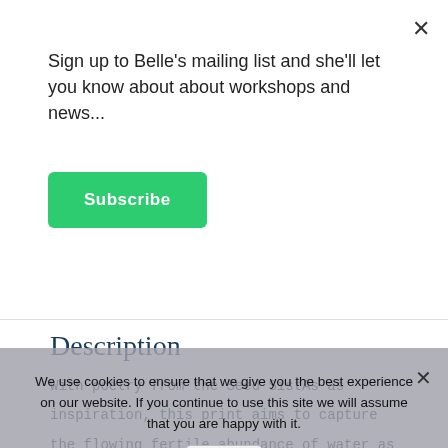Sign up to Belle's mailing list and she'll let you know about about workshops and news...
Subscribe
Description
With poetry from the Seed SistAs as inspiration, this print aims to capture the flowing fertile abundance of water as well as its cooling, cleansing properties.
The frogs feet are marshmallow leaves (Althea officinalis), the mallow that favours moist, marshy soils, the mallow that brings us soothing, cooling mucilage to bathe our mucous membranes and reduce the heat of
We use cookies to ensure that we give you the best experience on our website. If you continue to use this site we will assume that you are happy with it.
OK